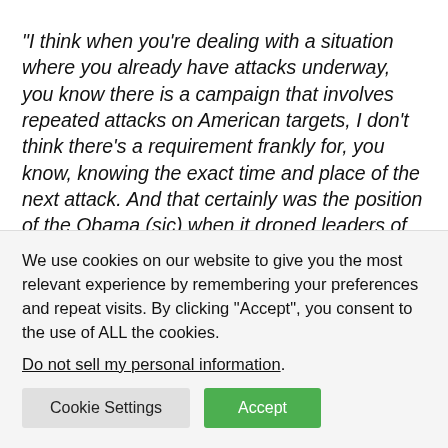“I think when you’re dealing with a situation where you already have attacks underway, you know there is a campaign that involves repeated attacks on American targets, I don’t think there’s a requirement frankly for, you know, knowing the exact time and place of the next attack. And that certainly was the position of the Obama (sic) when it droned leaders of terrorist organizations,” Barr added.
It is worth noting that the exact details of the
We use cookies on our website to give you the most relevant experience by remembering your preferences and repeat visits. By clicking “Accept”, you consent to the use of ALL the cookies.
Do not sell my personal information.